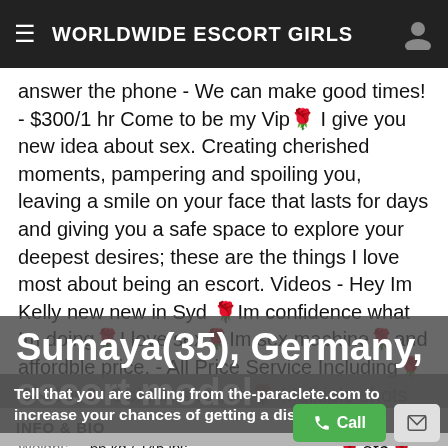WORLDWIDE ESCORT GIRLS
answer the phone - We can make good times! - $300/1 hr Come to be my Vip🌹 I give you new idea about sex. Creating cherished moments, pampering and spoiling you, leaving a smile on your face that lasts for days and giving you a safe space to explore your deepest desires; these are the things I love most about being an escort. Videos - Hey Im Kelly new new in Syd 🌹Im confidence what Im doing🌹I love sex🌹Im sex machine🌹and affordble price. - All Price Service Including🌹🌹 Cof🌹 Golden shower 🌹 Mulitiple shots🌹 Bbbj🌹light bondage🌹light teasing🌹 kissing🌹role play🌹nuru Massage 🌹etc🌹 - I also offer One Dragon service 🌹500 for 60mins - I Don't Offer Extra Photo's Other Than
Sumaya(35), Germany, escort model
INFO & BIO
Tell that you are calling from the-paraclete.com to increase your chances of getting a discount.
Height: 192 cm
Weight: 66 kg / 145 lbs